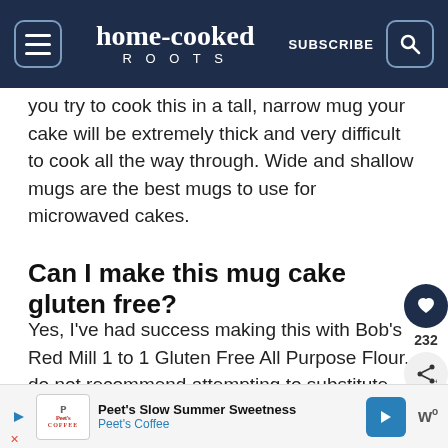home-cooked ROOTS — SUBSCRIBE
you try to cook this in a tall, narrow mug your cake will be extremely thick and very difficult to cook all the way through. Wide and shallow mugs are the best mugs to use for microwaved cakes.
Can I make this mug cake gluten free?
Yes, I've had success making this with Bob's Red Mill 1 to 1 Gluten Free All Purpose Flour. do not recommend attempting to substitute coconut flour, almond flour, or oat flour as the flours absorb liquid very differently that
[Figure (other): Peet's Coffee advertisement banner at bottom of page. Shows Peet's Coffee logo, text 'Peet's Slow Summer Sweetness' and 'Peet's Coffee', a blue arrow navigation button, and a 'w' logo icon.]